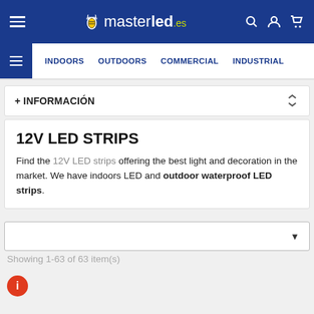masterled.es — INDOORS | OUTDOORS | COMMERCIAL | INDUSTRIAL
+ INFORMACIÓN
12V LED STRIPS
Find the 12V LED strips offering the best light and decoration in the market. We have indoors LED and outdoor waterproof LED strips.
Showing 1-63 of 63 item(s)